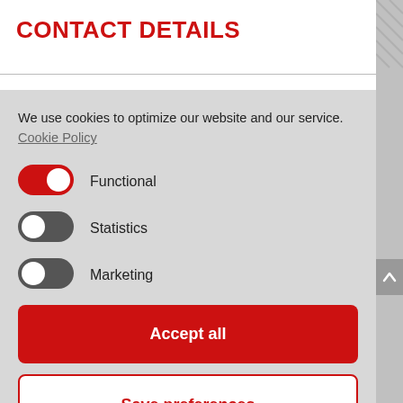CONTACT DETAILS
We use cookies to optimize our website and our service. Cookie Policy
Functional (toggle on)
Statistics (toggle off)
Marketing (toggle off)
Accept all
Save preferences